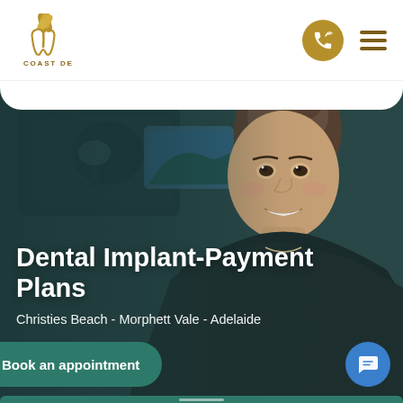[Figure (logo): Coast Dental logo with palm tree and tooth icon in gold/brown tones]
Dental Implant-Payment Plans
Christies Beach - Morphett Vale - Adelaide
[Figure (photo): Smiling female dental professional in dark scrubs with dental office background]
Book an appointment